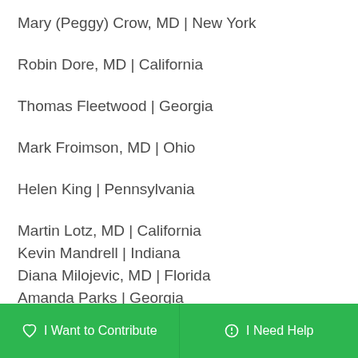Mary (Peggy) Crow, MD | New York
Robin Dore, MD | California
Thomas Fleetwood | Georgia
Mark Froimson, MD | Ohio
Helen King | Pennsylvania
Martin Lotz, MD | California
Kevin Mandrell | Indiana
Diana Milojevic, MD | Florida
Amanda Parks | Georgia
I Want to Contribute   I Need Help